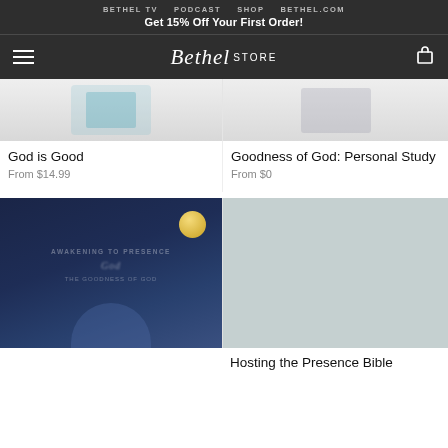BETHEL TV   PODCAST   SHOP   BETHEL.COM
Get 15% Off Your First Order!
[Figure (logo): Bethel Store logo with hamburger menu icon on left and cart icon on right, on dark background]
[Figure (photo): Partial top portion of God is Good product image]
[Figure (photo): Partial top portion of Goodness of God: Personal Study product image]
God is Good
From $14.99
Goodness of God: Personal Study
From $0
[Figure (photo): Dark blue book cover with gold circle accent and blurred text, showing a night sky / presence theme]
[Figure (photo): Light blue-grey placeholder image for Hosting the Presence Bible product]
Hosting the Presence Bible